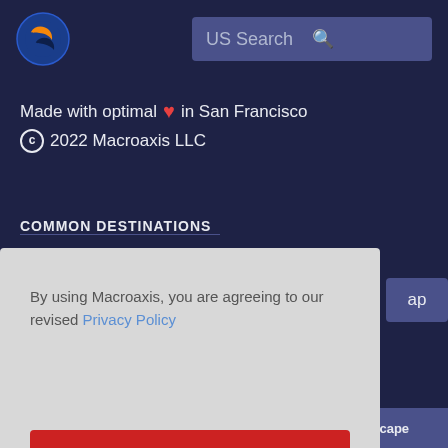[Figure (logo): Macroaxis globe logo — blue circle with orange and dark crescent shapes]
US Search
Made with optimal ❤ in San Francisco
© 2022 Macroaxis LLC
COMMON DESTINATIONS
By using Macroaxis, you are agreeing to our revised Privacy Policy
OK
Technical Analysis
Risk-Return Landscape